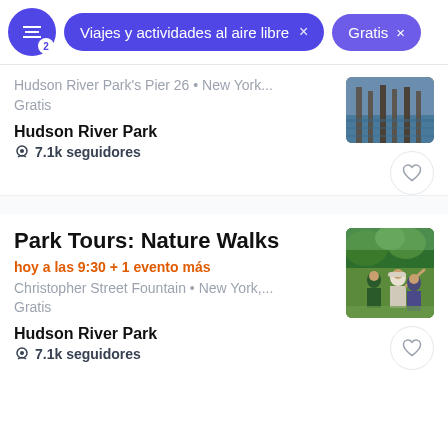Viajes y actividades al aire libre × | Gratis ×
Hudson River Park's Pier 26 • New York...
Gratis
Hudson River Park
7.1k seguidores
Park Tours: Nature Walks
hoy a las 9:30 + 1 evento más
Christopher Street Fountain • New York,...
Gratis
Hudson River Park
7.1k seguidores